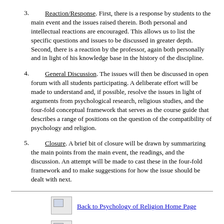3. Reaction/Response. First, there is a response by students to the main event and the issues raised therein. Both personal and intellectual reactions are encouraged. This allows us to list the specific questions and issues to be discussed in greater depth. Second, there is a reaction by the professor, again both personally and in light of his knowledge base in the history of the discipline.
4. General Discussion. The issues will then be discussed in open forum with all students participating. A deliberate effort will be made to understand and, if possible, resolve the issues in light of arguments from psychological research, religious studies, and the four-fold conceptual framework that serves as the course guide that describes a range of positions on the question of the compatibility of psychology and religion.
5. Closure. A brief bit of closure will be drawn by summarizing the main points from the main event, the readings, and the discussion. An attempt will be made to cast these in the four-fold framework and to make suggestions for how the issue should be dealt with next.
[Figure (other): Icon image placeholder for Back to Psychology of Religion Home Page link]
Back to Psychology of Religion Home Page
[Figure (other): Icon image placeholder for Top of this file link]
Top of this file